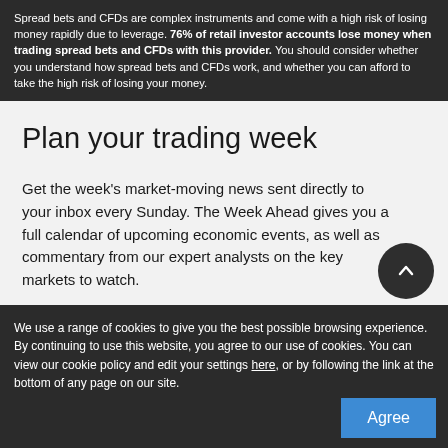Spread bets and CFDs are complex instruments and come with a high risk of losing money rapidly due to leverage. 76% of retail investor accounts lose money when trading spread bets and CFDs with this provider. You should consider whether you understand how spread bets and CFDs work, and whether you can afford to take the high risk of losing your money.
Plan your trading week
Get the week's market-moving news sent directly to your inbox every Sunday. The Week Ahead gives you a full calendar of upcoming economic events, as well as commentary from our expert analysts on the key markets to watch.
First name
Last name
We use a range of cookies to give you the best possible browsing experience. By continuing to use this website, you agree to our use of cookies. You can view our cookie policy and edit your settings here, or by following the link at the bottom of any page on our site.